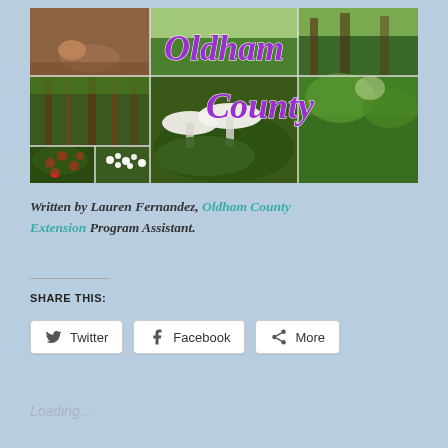[Figure (photo): A collage of nature and farm photos from Oldham County. Top left shows a dog digging in dirt, top center and right show pastoral green fields and woodland scenes. Middle left shows tall trees in a park or forest. Center large image shows white mushrooms/flowers among green foliage. Right side shows a lush green garden/woodland. Bottom left shows red berries on green leaves, bottom center shows white flower clusters. Overlaid text reads 'Oldham County' in large purple italic script.]
Written by Lauren Fernandez, Oldham County Extension Program Assistant.
SHARE THIS:
Twitter  Facebook  More
Loading...